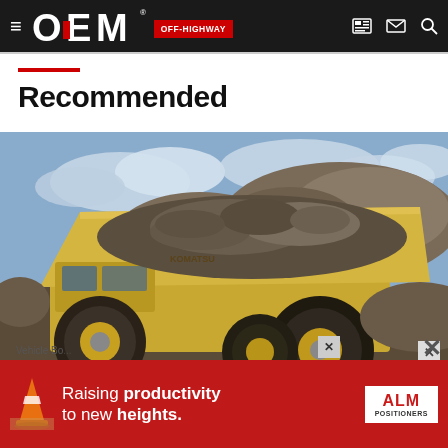OEM OFF-HIGHWAY
Recommended
[Figure (photo): Large yellow mining haul truck loaded with rocks/ore at a mining site, with rocky terrain and cloudy sky in the background]
Vehicle Bo...
[Figure (infographic): Advertisement banner: 'Raising productivity to new heights.' with ALM Positioners logo and traffic cone image on red background]